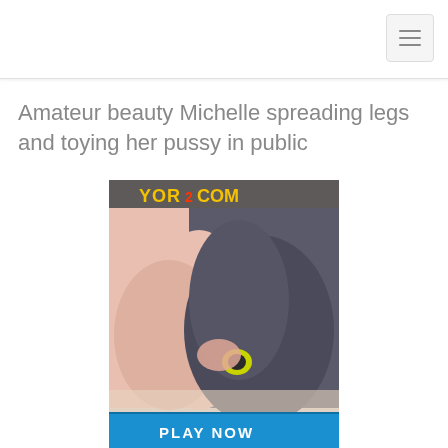Amateur beauty Michelle spreading legs and toying her pussy in public
[Figure (illustration): Animated/illustrated advertisement image showing stylized figures with a 'PLAY NOW' button at the bottom and a partially visible logo at the top reading 'YOR2COM' or similar.]